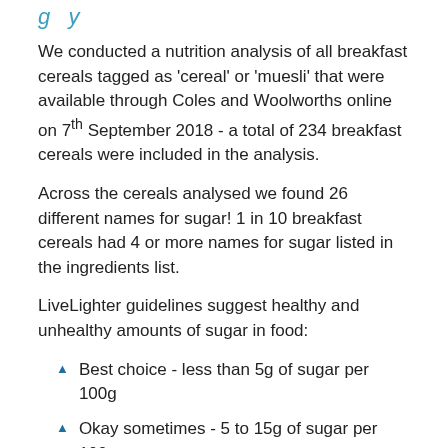g y
We conducted a nutrition analysis of all breakfast cereals tagged as 'cereal' or 'muesli' that were available through Coles and Woolworths online on 7th September 2018 - a total of 234 breakfast cereals were included in the analysis.
Across the cereals analysed we found 26 different names for sugar! 1 in 10 breakfast cereals had 4 or more names for sugar listed in the ingredients list.
LiveLighter guidelines suggest healthy and unhealthy amounts of sugar in food:
Best choice - less than 5g of sugar per 100g
Okay sometimes - 5 to 15g of sugar per 100g
Poor choice - more than 15g of sugar per 100g
The average amount of sugar in the breakfast cereals was 16.6g per 100g (so on average, breakfast cereal